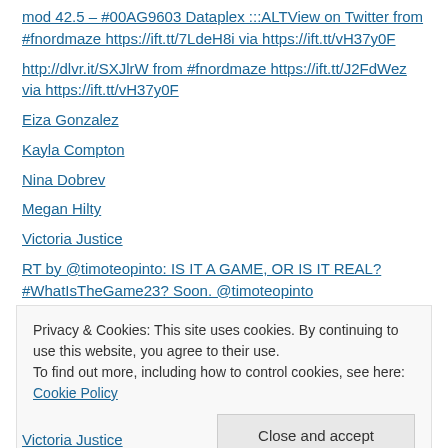mod 42.5 – #00AG9603 Dataplex :::ALTView on Twitter from #fnordmaze https://ift.tt/7LdeH8i via https://ift.tt/vH37y0F
http://dlvr.it/SXJlrW from #fnordmaze https://ift.tt/J2FdWez via https://ift.tt/vH37y0F
Eiza Gonzalez
Kayla Compton
Nina Dobrev
Megan Hilty
Victoria Justice
RT by @timoteopinto: IS IT A GAME, OR IS IT REAL? #WhatIsTheGame23? Soon. @timoteopinto @discordianismo2 @Real_TheGAME23 @text18193833001 @FoJAk3 @nickhintonn
Privacy & Cookies: This site uses cookies. By continuing to use this website, you agree to their use.
To find out more, including how to control cookies, see here: Cookie Policy
Close and accept
Victoria Justice